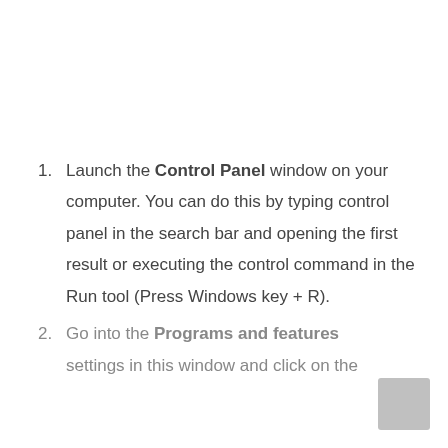1. Launch the Control Panel window on your computer. You can do this by typing control panel in the search bar and opening the first result or executing the control command in the Run tool (Press Windows key + R).
2. Go into the Programs and features settings in this window and click on the